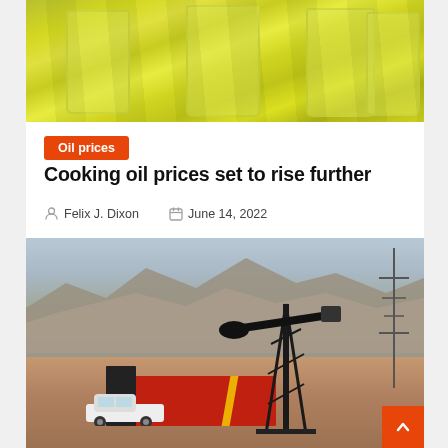[Figure (photo): Close-up of cooking oil in glass containers with yellowish-green liquid]
Oil prices
Cooking oil prices set to rise further
Felix J. Dixon   June 14, 2022
[Figure (photo): Oil pump jack in a desert landscape with red equipment and a white pickup truck, mountains in background]